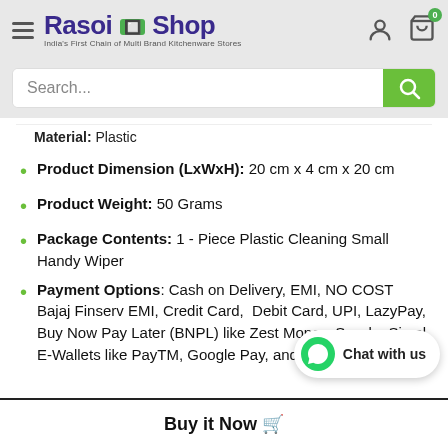[Figure (logo): Rasoi Shop logo with hamburger menu on left, user and cart icons on right]
[Figure (screenshot): Search bar with green search button]
Material: Plastic
Product Dimension (LxWxH): 20 cm x 4 cm x 20 cm
Product Weight: 50 Grams
Package Contents: 1 - Piece Plastic Cleaning Small Handy Wiper
Payment Options: Cash on Delivery, EMI, NO COST Bajaj Finserv EMI, Credit Card, Debit Card, UPI, LazyPay, Buy Now Pay Later (BNPL) like Zest Money, Sezzle, Simpl E-Wallets like PayTM, Google Pay, and mu
Buy it Now 🛒